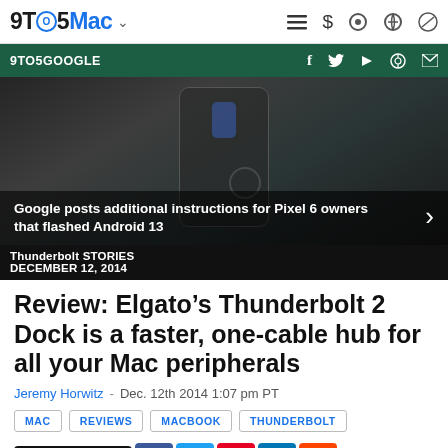9TO5Mac
9TO5GOOGLE
[Figure (screenshot): Hero image showing a smartphone screen with Android UI, dark background]
Google posts additional instructions for Pixel 6 owners that flashed Android 13
Thunderbolt STORIES
DECEMBER 12, 2014
Review: Elgato’s Thunderbolt 2 Dock is a faster, one-cable hub for all your Mac peripherals
Jeremy Horwitz  -  Dec. 12th 2014 1:07 pm PT
MAC
REVIEWS
MACBOOK
THUNDERBOLT
Comments (11)
[Figure (screenshot): Black bottom strip / bottom of page image]